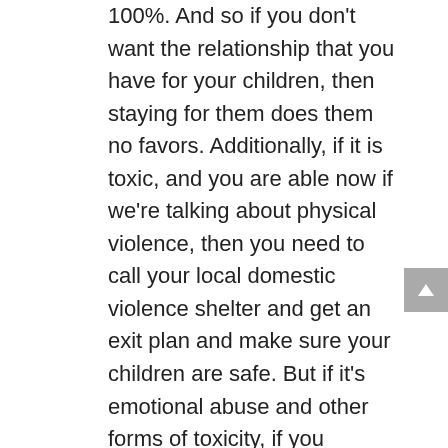100%. And so if you don't want the relationship that you have for your children, then staying for them does them no favors. Additionally, if it is toxic, and you are able now if we're talking about physical violence, then you need to call your local domestic violence shelter and get an exit plan and make sure your children are safe. But if it's emotional abuse and other forms of toxicity, if you provide them a safe place that is free of this toxicity that it is nurturing, that it is a safe place for them to land, even if it is only 50% of the time, you give them the gift of perspective. And what I mean by that is that you give them the opportunity to feel one thing and then even if when